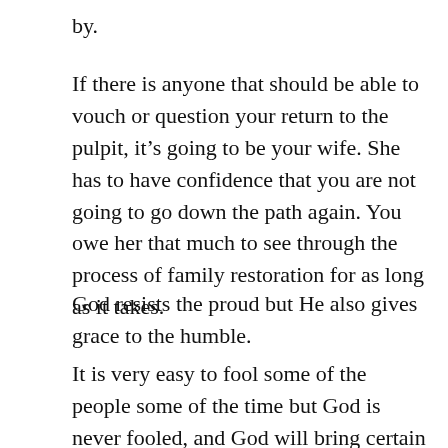by.
If there is anyone that should be able to vouch or question your return to the pulpit, it's going to be your wife. She has to have confidence that you are not going to go down the path again. You owe her that much to see through the process of family restoration for as long as it takes.
God resists the proud but He also gives grace to the humble.
It is very easy to fool some of the people some of the time but God is never fooled, and God will bring certain people in your life to let you